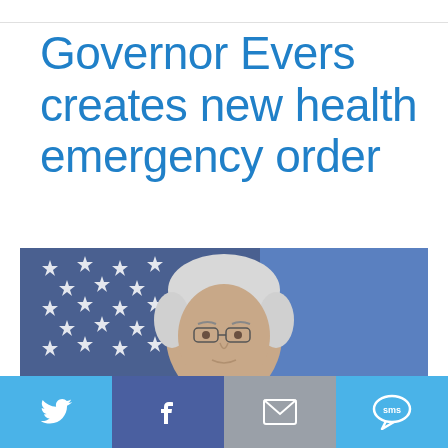Governor Evers creates new health emergency order
[Figure (photo): Portrait photo of Governor Evers in front of an American flag with blue background]
Twitter | Facebook | Email | SMS share buttons